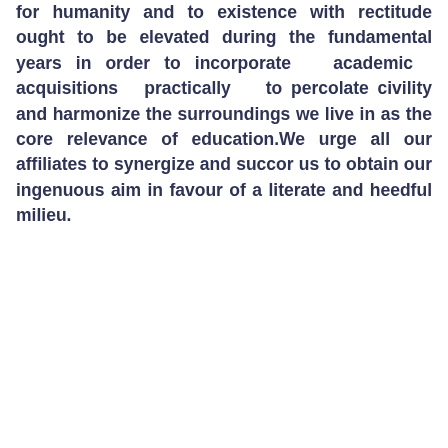for humanity and to existence with rectitude ought to be elevated during the fundamental years in order to incorporate academic acquisitions practically to percolate civility and harmonize the surroundings we live in as the core relevance of education.We urge all our affiliates to synergize and succor us to obtain our ingenuous aim in favour of a literate and heedful milieu.